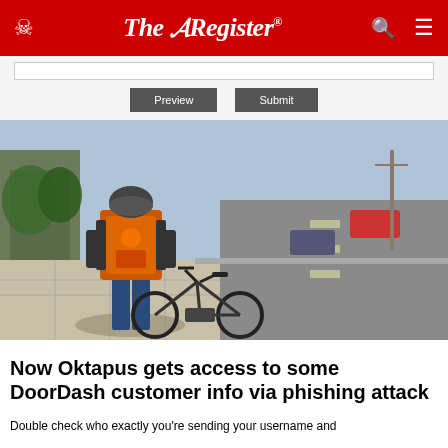The Register
[Figure (screenshot): Form area with a text input box and two buttons labelled Preview and Submit, on a light grey background]
[Figure (photo): A DoorDash delivery person wearing an orange delivery backpack standing next to a bicycle on a city sidewalk, viewed from behind]
Now Oktapus gets access to some DoorDash customer info via phishing attack
Double check who exactly you're sending your username and